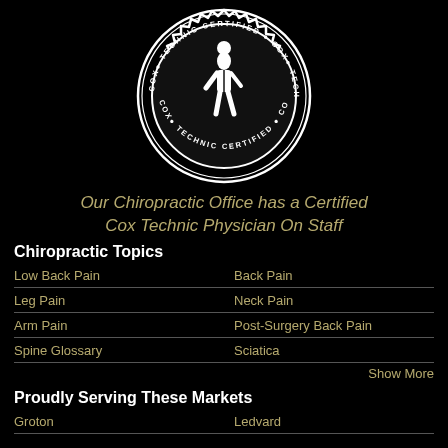[Figure (logo): Cox Technic Certified seal/badge with a white anatomical human figure in the center, circular text reading COX TECHNIC CERTIFIED around the edge, on a black background]
Our Chiropractic Office has a Certified Cox Technic Physician On Staff
Chiropractic Topics
Low Back Pain
Back Pain
Leg Pain
Neck Pain
Arm Pain
Post-Surgery Back Pain
Spine Glossary
Sciatica
Show More
Proudly Serving These Markets
Groton
Ledvard